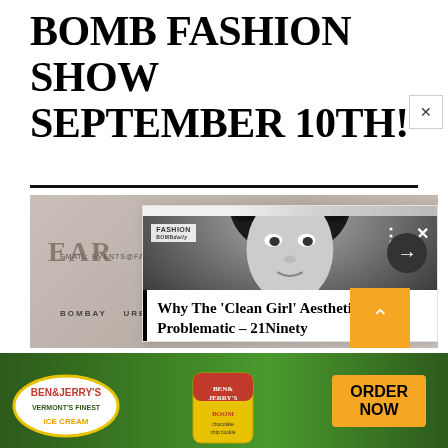BOMB FASHION SHOW SEPTEMBER 10TH!
[Figure (screenshot): Screenshot of a web article card overlay showing a black and white photo of a young woman with a bob haircut, with article title 'Why The Clean Girl Aesthetic Is Problematic - 21Ninety', overlaid on a fashion event promotional background with email events@fashionbombdaily.com, Fashion Bomb Daily logo, SPONSORS text, and sponsor logos including BOMBAY, URBAN]
[Figure (photo): Ben and Jerry's advertisement banner with green background, Ben & Jerry's logo, ice cream product image, and ORDER NOW button in orange]